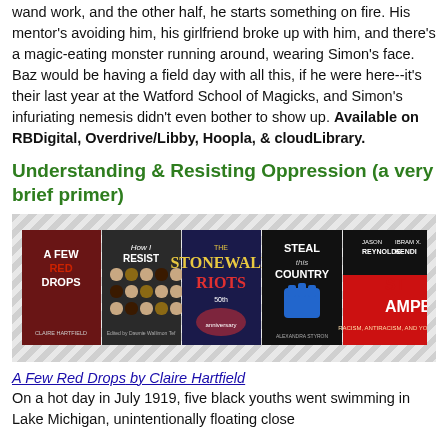wand work, and the other half, he starts something on fire. His mentor's avoiding him, his girlfriend broke up with him, and there's a magic-eating monster running around, wearing Simon's face. Baz would be having a field day with all this, if he were here--it's their last year at the Watford School of Magicks, and Simon's infuriating nemesis didn't even bother to show up. Available on RBDigital, Overdrive/Libby, Hoopla, & cloudLibrary.
Understanding & Resisting Oppression (a very brief primer)
[Figure (photo): A row of five book covers: A Few Red Drops, How I Resist, The Stonewall Riots, Steal This Country, and Stamped (partially visible)]
A Few Red Drops by Claire Hartfield
On a hot day in July 1919, five black youths went swimming in Lake Michigan, unintentionally floating close